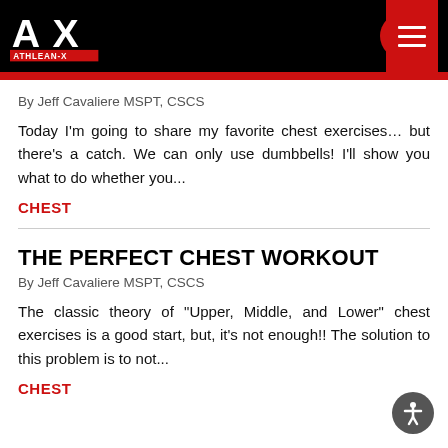[Figure (logo): ATHLEAN-X logo with AX letters in white on black background, red underline text ATHLEAN-X]
By Jeff Cavaliere MSPT, CSCS
Today I'm going to share my favorite chest exercises… but there's a catch. We can only use dumbbells! I'll show you what to do whether you...
CHEST
THE PERFECT CHEST WORKOUT
By Jeff Cavaliere MSPT, CSCS
The classic theory of "Upper, Middle, and Lower" chest exercises is a good start, but, it's not enough!! The solution to this problem is to not...
CHEST